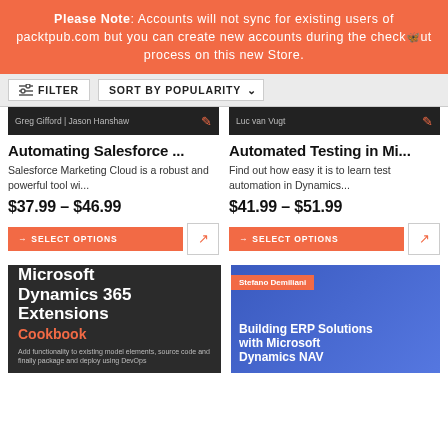Please Note: Accounts will not sync for existing users of packtpub.com but you can create new accounts during the checkout process on this new Store.
FILTER   SORT BY POPULARITY
Greg Gifford | Jason Hanshaw
Luc van Vugt
Automating Salesforce ...
Automated Testing in Mi...
Salesforce Marketing Cloud is a robust and powerful tool wi...
Find out how easy it is to learn test automation in Dynamics...
$37.99 – $46.99
$41.99 – $51.99
→ SELECT OPTIONS
→ SELECT OPTIONS
[Figure (illustration): Book cover for Microsoft Dynamics 365 Extensions Cookbook, dark background with orange subtitle]
[Figure (illustration): Book cover for Building ERP Solutions with Microsoft Dynamics NAV, blue geometric background with author Stefano Demiliani]